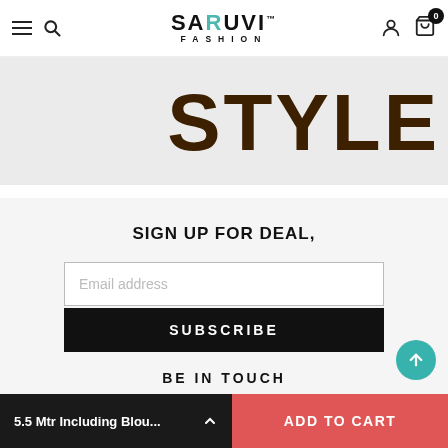Saruvi Fashion — navigation header with logo, hamburger menu, search, user icon, and cart (0)
[Figure (screenshot): Cropped banner showing large bold dark brown 'STYLE' text on light grey background]
SIGN UP FOR DEAL,
Email address (input field placeholder)
SUBSCRIBE (button)
BE IN TOUCH
[Figure (infographic): Social media icons row: Facebook, Twitter, Pinterest, Instagram, YouTube, WhatsApp]
5.5 Mtr Including Blou... ↑   ADD TO CART